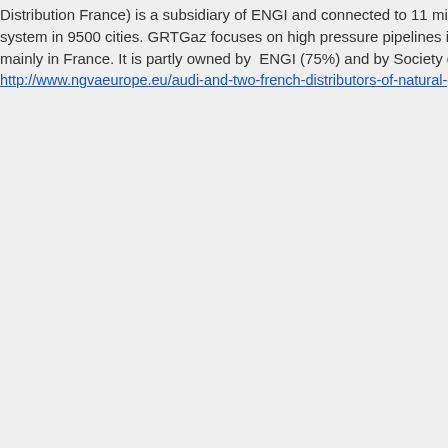Distribution France) is a subsidiary of ENGI and connected to 11 million end users system in 9500 cities. GRTGaz focuses on high pressure pipelines in Europe, the mainly in France. It is partly owned by ENGI (75%) and by Society d'infrastructur
http://www.ngvaeurope.eu/audi-and-two-french-distributors-of-natural-gas-new